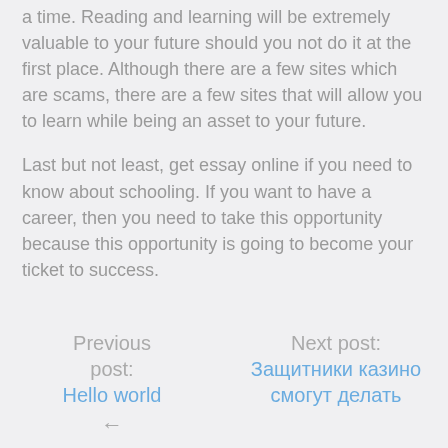a time. Reading and learning will be extremely valuable to your future should you not do it at the first place. Although there are a few sites which are scams, there are a few sites that will allow you to learn while being an asset to your future.
Last but not least, get essay online if you need to know about schooling. If you want to have a career, then you need to take this opportunity because this opportunity is going to become your ticket to success.
Previous post: Hello world ← | Next post: Защитники казино смогут делать